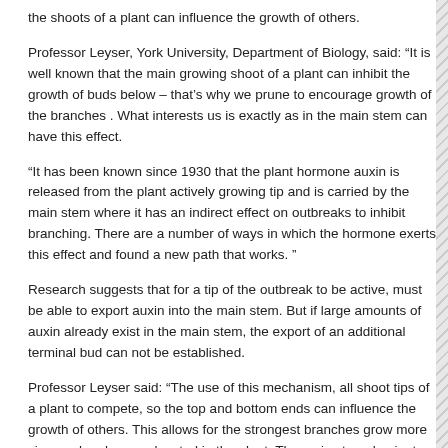the shoots of a plant can influence the growth of others.
Professor Leyser, York University, Department of Biology, said: “It is well known that the main growing shoot of a plant can inhibit the growth of buds below – that’s why we prune to encourage growth of the branches . What interests us is exactly as in the main stem can have this effect.
“It has been known since 1930 that the plant hormone auxin is released from the plant actively growing tip and is carried by the main stem where it has an indirect effect on outbreaks to inhibit branching. There are a number of ways in which the hormone exerts this effect and found a new path that works. ”
Research suggests that for a tip of the outbreak to be active, must be able to export auxin into the main stem. But if large amounts of auxin already exist in the main stem, the export of an additional terminal bud can not be established.
Professor Leyser said: “The use of this mechanism, all shoot tips of a plant to compete, so the top and bottom ends can influence the growth of others. This allows for the strongest branches grow more vigorously, wherever located in the plant. The main stem dominates especially because it was there first, rather than its position at the top of the plant. ”
The teams went on to show that the plant hormone recently discovered strigolactone, works, at least in part, so it is harder to establish new routes